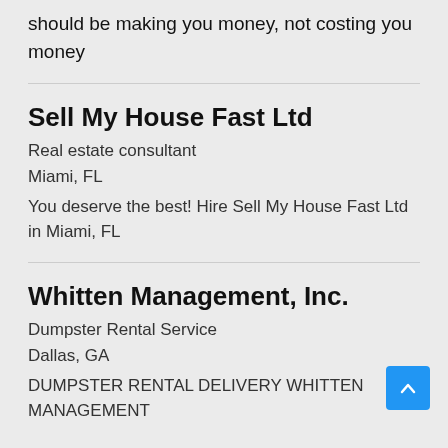should be making you money, not costing you money
Sell My House Fast Ltd
Real estate consultant
Miami, FL
You deserve the best! Hire Sell My House Fast Ltd in Miami, FL
Whitten Management, Inc.
Dumpster Rental Service
Dallas, GA
DUMPSTER RENTAL DELIVERY WHITTEN MANAGEMENT